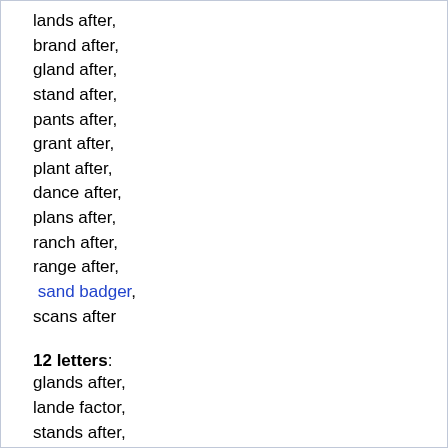lands after,
brand after,
gland after,
stand after,
pants after,
grant after,
plant after,
dance after,
plans after,
ranch after,
range after,
sand badger,
scans after
12 letters:
glands after,
lande factor,
stands after,
plant matter,
banned after,
bland manner,
land plaster,
grants after,
had mastered,